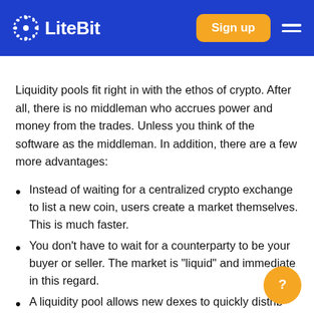LiteBit — Sign up
Liquidity pools fit right in with the ethos of crypto. After all, there is no middleman who accrues power and money from the trades. Unless you think of the software as the middleman. In addition, there are a few more advantages:
Instead of waiting for a centralized crypto exchange to list a new coin, users create a market themselves. This is much faster.
You don't have to wait for a counterparty to be your buyer or seller. The market is "liquid" and immediate in this regard.
A liquidity pool allows new dexes to quickly distribute their coins (governance tokens) to liquidity providers. In